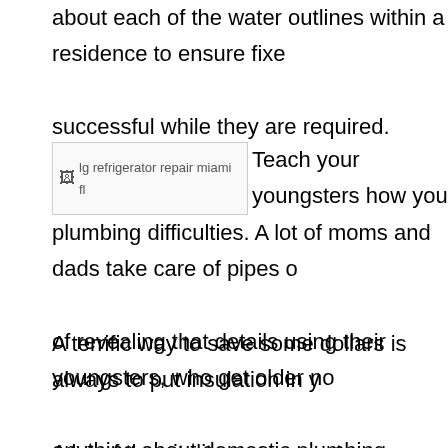about each of the water outlines within a residence to ensure fixe successful while they are required.
[Figure (photo): Broken image placeholder labeled 'lg refrigerator repair miami fl']
Teach your youngsters how you plumbing difficulties. A lot of moms and dads take care of pipes o of revealing that details using their youngsters, who get older no anything about domestic plumbing. When you come up with a litt problem, contact your kids in and clarify what the catch is and wh Instruct them so they can make good selections later on.
A terrific way to save some dollars is always to put insulation in y A lot of the vitality necessary to temperature the water at home is keep the water inside the container hot for when it is needed. Inco insulating material will help minimize this cost.